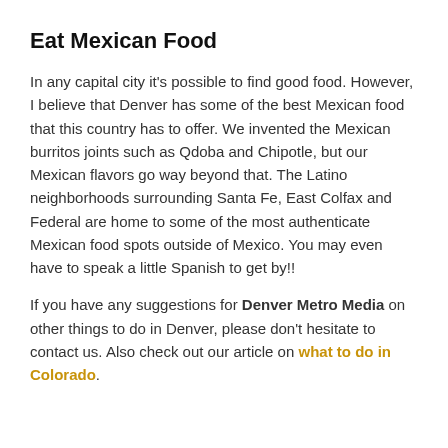Eat Mexican Food
In any capital city it's possible to find good food. However, I believe that Denver has some of the best Mexican food that this country has to offer. We invented the Mexican burritos joints such as Qdoba and Chipotle, but our Mexican flavors go way beyond that. The Latino neighborhoods surrounding Santa Fe, East Colfax and Federal are home to some of the most authenticate Mexican food spots outside of Mexico. You may even have to speak a little Spanish to get by!!
If you have any suggestions for Denver Metro Media on other things to do in Denver, please don't hesitate to contact us. Also check out our article on what to do in Colorado.